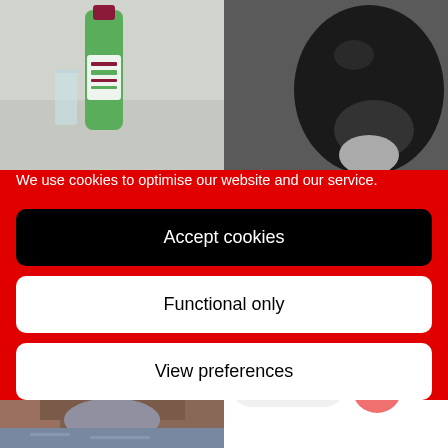[Figure (photo): Photo of a green glass water bottle (Evian Saveur) with a glass, on a light grey surface]
[Figure (photo): Close-up black and white photo of a dog's face (black and white dog)]
We use cookies to optimise our website and our service.
Accept cookies
Functional only
View preferences
[Figure (photo): Photo of a stone arch bridge in Venice over a canal, with brick buildings]
Contact us